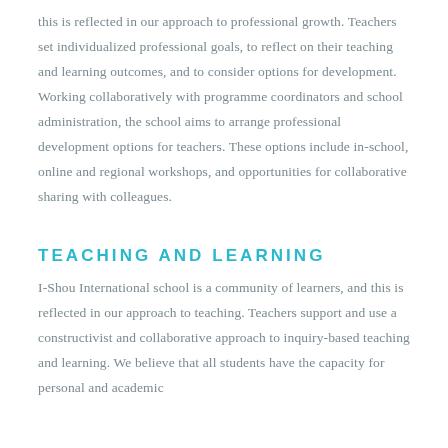this is reflected in our approach to professional growth. Teachers set individualized professional goals, to reflect on their teaching and learning outcomes, and to consider options for development. Working collaboratively with programme coordinators and school administration, the school aims to arrange professional development options for teachers. These options include in-school, online and regional workshops, and opportunities for collaborative sharing with colleagues.
TEACHING AND LEARNING
I-Shou International school is a community of learners, and this is reflected in our approach to teaching. Teachers support and use a constructivist and collaborative approach to inquiry-based teaching and learning. We believe that all students have the capacity for personal and academic